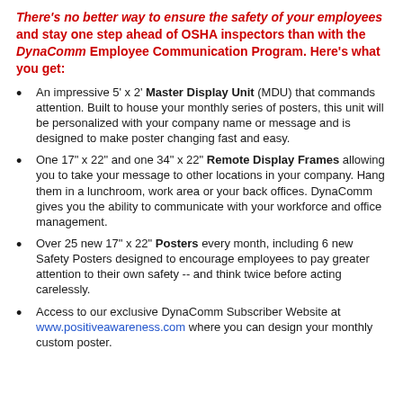There's no better way to ensure the safety of your employees and stay one step ahead of OSHA inspectors than with the DynaComm Employee Communication Program. Here's what you get:
An impressive 5' x 2' Master Display Unit (MDU) that commands attention. Built to house your monthly series of posters, this unit will be personalized with your company name or message and is designed to make poster changing fast and easy.
One 17" x 22" and one 34" x 22" Remote Display Frames allowing you to take your message to other locations in your company. Hang them in a lunchroom, work area or your back offices. DynaComm gives you the ability to communicate with your workforce and office management.
Over 25 new 17" x 22" Posters every month, including 6 new Safety Posters designed to encourage employees to pay greater attention to their own safety -- and think twice before acting carelessly.
Access to our exclusive DynaComm Subscriber Website at www.positiveawareness.com where you can design your monthly custom poster.